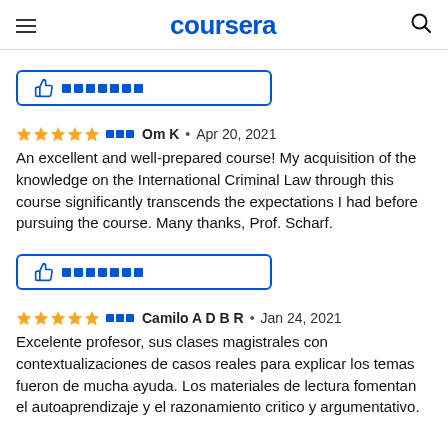coursera
[Figure (other): Helpful button with thumbs up icon and blue square boxes, bordered in blue]
⬛⬛⬛ Om K • Apr 20, 2021
An excellent and well-prepared course! My acquisition of the knowledge on the International Criminal Law through this course significantly transcends the expectations I had before pursuing the course. Many thanks, Prof. Scharf.
[Figure (other): Helpful button with thumbs up icon and blue square boxes, bordered in blue]
⬛⬛⬛ Camilo A D B R • Jan 24, 2021
Excelente profesor, sus clases magistrales con contextualizaciones de casos reales para explicar los temas fueron de mucha ayuda. Los materiales de lectura fomentan el autoaprendizaje y el razonamiento critico y argumentativo.